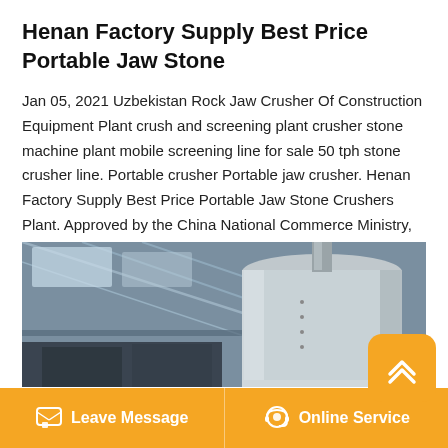Henan Factory Supply Best Price Portable Jaw Stone
Jan 05, 2021 Uzbekistan Rock Jaw Crusher Of Construction Equipment Plant crush and screening plant crusher stone machine plant mobile screening line for sale 50 tph stone crusher line. Portable crusher Portable jaw crusher. Henan Factory Supply Best Price Portable Jaw Stone Crushers Plant. Approved by the China National Commerce Ministry, established in.
[Figure (photo): Industrial factory interior showing large cylindrical equipment (crusher/mill) viewed from below, with metal roof structure visible in background.]
Leave Message   Online Service